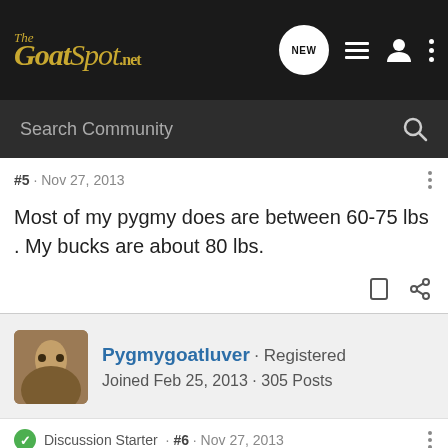The GoatSpot.net
#5 · Nov 27, 2013
Most of my pygmy does are between 60-75 lbs . My bucks are about 80 lbs.
Pygmygoatluver · Registered
Joined Feb 25, 2013 · 305 Posts
Discussion Starter · #6 · Nov 27, 2013